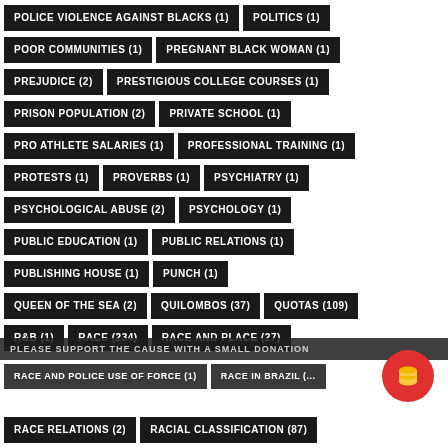POLICE VIOLENCE AGAINST BLACKS (1)
POLITICS (1)
POOR COMMUNITIES (1)
PREGNANT BLACK WOMAN (1)
PREJUDICE (2)
PRESTIGIOUS COLLEGE COURSES (1)
PRISON POPULATION (2)
PRIVATE SCHOOL (1)
PRO ATHLETE SALARIES (1)
PROFESSIONAL TRAINING (1)
PROTESTS (1)
PROVERBS (1)
PSYCHIATRY (1)
PSYCHOLOGICAL ABUSE (2)
PSYCHOLOGY (1)
PUBLIC EDUCATION (1)
PUBLIC RELATIONS (1)
PUBLISHING HOUSE (1)
PUNCH (1)
QUEEN OF THE SEA (2)
QUILOMBOS (37)
QUOTAS (109)
R&B (1)
RACE (234)
RACE AND PLACE (27)
PLEASE SUPPORT THE CAUSE WITH A SMALL DONATION
RACE AND POLICE USE OF FORCE (1)
RACE IN BRAZIL (...)
RACE RELATIONS (2)
RACIAL CLASSIFICATION (87)